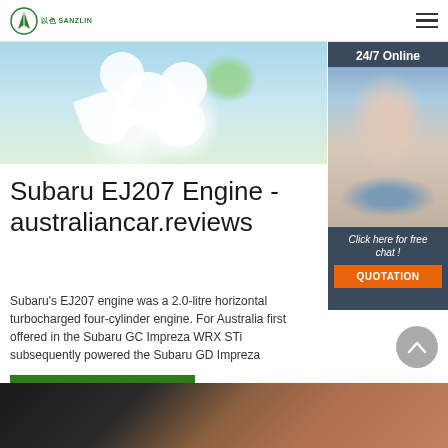SANZUN logo and hamburger menu
[Figure (photo): Blurred hero image of white flowers on blue background]
[Figure (photo): 24/7 Online chat panel with female agent wearing headset and dark hair, smiling, with 'Click here for free chat!' text and orange QUOTATION button]
Subaru EJ207 Engine - australiancar.reviews
Subaru's EJ207 engine was a 2.0-litre horizontal turbocharged four-cylinder engine. For Australia first offered in the Subaru GC Impreza WRX STi subsequently powered the Subaru GD Impreza
[Figure (other): Green 'Get Price' button]
[Figure (other): Grey circular back-to-top arrow button]
[Figure (photo): Bottom strip showing close-up brown/tan surface]